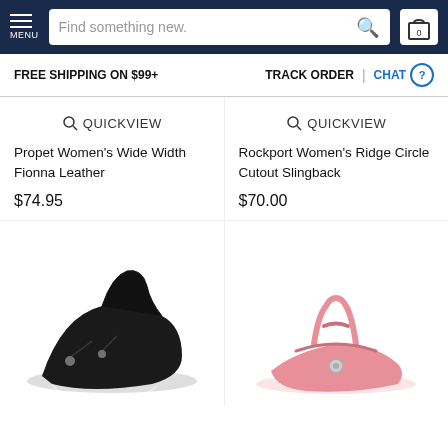MENU | Find something new. | 0
FREE SHIPPING ON $99+   TRACK ORDER | CHAT
QUICK VIEW
Propet Women's Wide Width Fionna Leather
$74.95
QUICK VIEW
Rockport Women's Ridge Circle Cutout Slingback
$70.00
[Figure (photo): Black shoe product photo at bottom left]
[Figure (photo): Pink sandal product photo at bottom right]